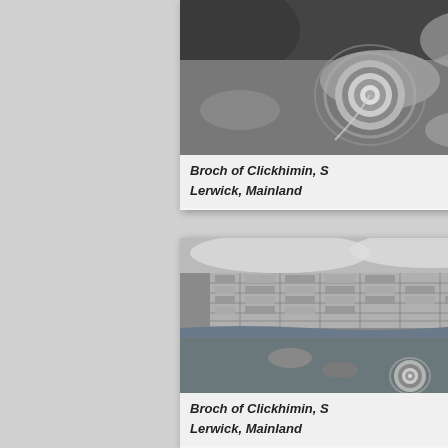[Figure (photo): Black and white aerial photograph showing the Broch of Clickhimin, a circular Iron Age fortification surrounded by concentric earthworks, set in an open landscape]
Broch of Clickhimin, S
Lerwick, Mainland
[Figure (photo): Black and white aerial photograph showing Lerwick town with a grid of streets and buildings visible from above, with water and the Broch of Clickhimin visible in the lower portion]
Broch of Clickhimin, S
Lerwick, Mainland